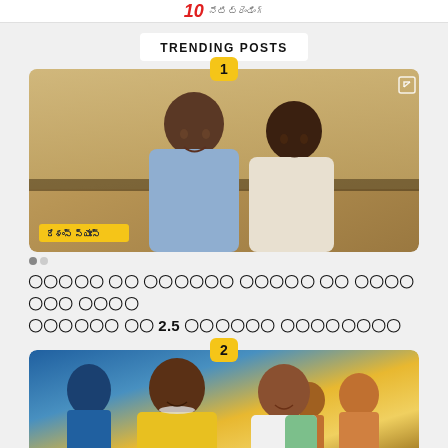10 [logo] [site name]
TRENDING POSTS
[Figure (photo): Two young men smiling and posing together indoors, one in a light blue shirt, one in a white shirt. A yellow tag overlay with Telugu/Indic script text appears at bottom left. A small external link icon appears at top right. Badge number 1 shown above.]
[dot indicators]
????? ?? ?????? ????? ?? ??????? ???? ?????? ?? 2.5 ?????? ????????
[Figure (photo): Crowd scene with two women in the foreground — one in a yellow outfit with jewelry crying/emotional, another in a white and green outfit. Badge number 2 shown above.]